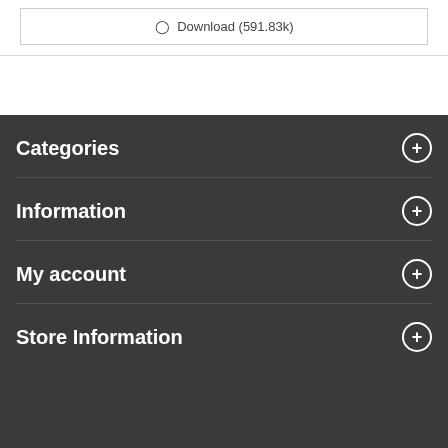⊙ Download (591.83k)
Categories
Information
My account
Store Information